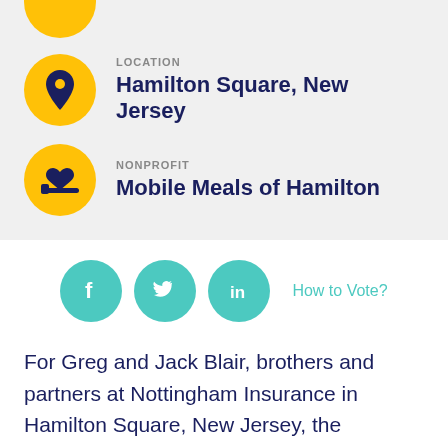[Figure (infographic): Yellow circle with location pin icon, partially cropped at top of page]
LOCATION
Hamilton Square, New Jersey
NONPROFIT
Mobile Meals of Hamilton
[Figure (infographic): Three teal circles with social media icons: Facebook, Twitter, LinkedIn. Followed by 'How to Vote?' link.]
For Greg and Jack Blair, brothers and partners at Nottingham Insurance in Hamilton Square, New Jersey, the connection to Mobile Meals of Hamilton runs deep.